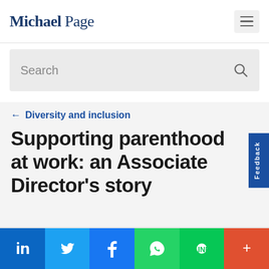Michael Page
Search
← Diversity and inclusion
Supporting parenthood at work: an Associate Director's story
Are you hiring?
LinkedIn Twitter Facebook WhatsApp LINE +